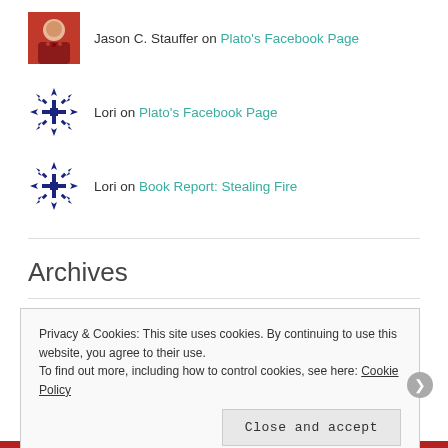Jason C. Stauffer on Plato's Facebook Page
Lori on Plato's Facebook Page
Lori on Book Report: Stealing Fire
Archives
Privacy & Cookies: This site uses cookies. By continuing to use this website, you agree to their use. To find out more, including how to control cookies, see here: Cookie Policy
Close and accept